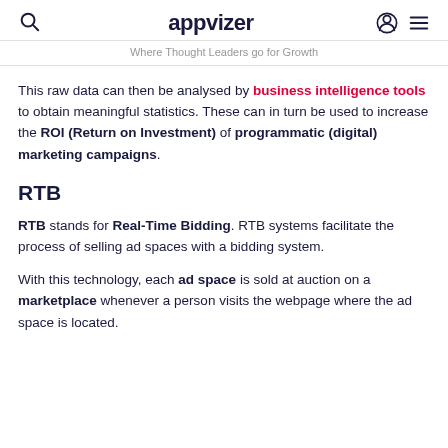appvizer — Where Thought Leaders go for Growth
This raw data can then be analysed by business intelligence tools to obtain meaningful statistics. These can in turn be used to increase the ROI (Return on Investment) of programmatic (digital) marketing campaigns.
RTB
RTB stands for Real-Time Bidding. RTB systems facilitate the process of selling ad spaces with a bidding system.
With this technology, each ad space is sold at auction on a marketplace whenever a person visits the webpage where the ad space is located.